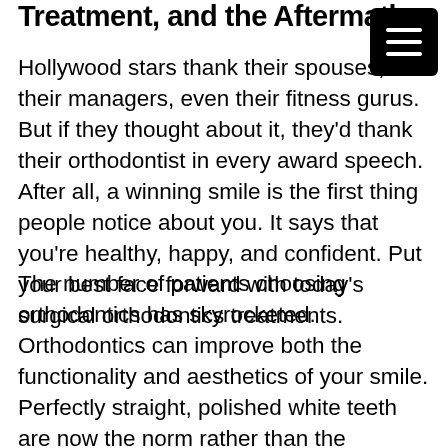Treatment, and the Aftermath
Hollywood stars thank their spouses, their managers, even their fitness gurus. But if they thought about it, they'd thank their orthodontist in every award speech. After all, a winning smile is the first thing people notice about you. It says that you're healthy, happy, and confident. Put your best face forward with today's surgical orthodontics treatments.
The number of patients choosing orthodontics has skyrocketed. Orthodontics can improve both the functionality and aesthetics of your smile. Perfectly straight, polished white teeth are now the norm rather than the exception, and modern technology makes treatment easier than ever. As a result, the young and the young at heart are exploring their possibilities for orthodontics. Wh